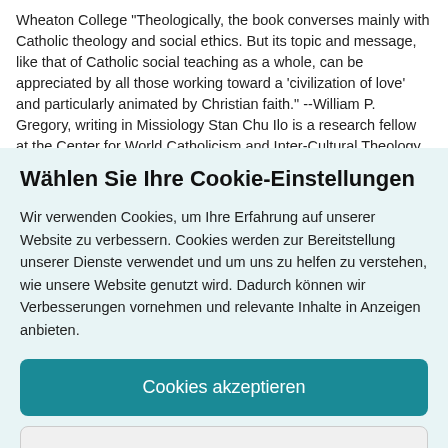Wheaton College "Theologically, the book converses mainly with Catholic theology and social ethics. But its topic and message, like that of Catholic social teaching as a whole, can be appreciated by all those working toward a 'civilization of love' and particularly animated by Christian faith." --William P. Gregory, writing in Missiology Stan Chu Ilo is a research fellow at the Center for World Catholicism and Inter-Cultural Theology, and Assistant Professor of Catholic Studies and World
Wählen Sie Ihre Cookie-Einstellungen
Wir verwenden Cookies, um Ihre Erfahrung auf unserer Website zu verbessern. Cookies werden zur Bereitstellung unserer Dienste verwendet und um uns zu helfen zu verstehen, wie unsere Website genutzt wird. Dadurch können wir Verbesserungen vornehmen und relevante Inhalte in Anzeigen anbieten.
Cookies akzeptieren
Cookies anpassen